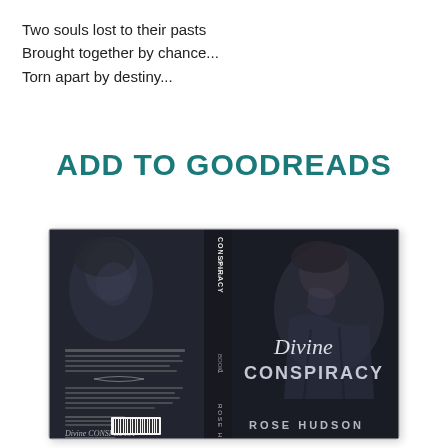Two souls lost to their pasts
Brought together by chance...
Torn apart by destiny...
ADD TO GOODREADS
[Figure (photo): Book cover of 'Divine Conspiracy' by Rose Hudson, showing a dark atmospheric design with two figures (a woman and a man) on a moody dark background. The spine reads 'Divine CONSPIRACY Rose Hudson Book 1'. The front cover displays the title 'Divine Conspiracy' in elegant script and sans-serif, with 'Rose Hudson' at the bottom.]